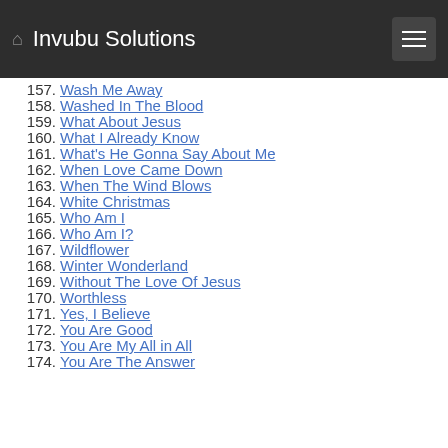Invubu Solutions
157. Wash Me Away
158. Washed In The Blood
159. What About Jesus
160. What I Already Know
161. What's He Gonna Say About Me
162. When Love Came Down
163. When The Wind Blows
164. White Christmas
165. Who Am I
166. Who Am I?
167. Wildflower
168. Winter Wonderland
169. Without The Love Of Jesus
170. Worthless
171. Yes, I Believe
172. You Are Good
173. You Are My All in All
174. You Are The Answer